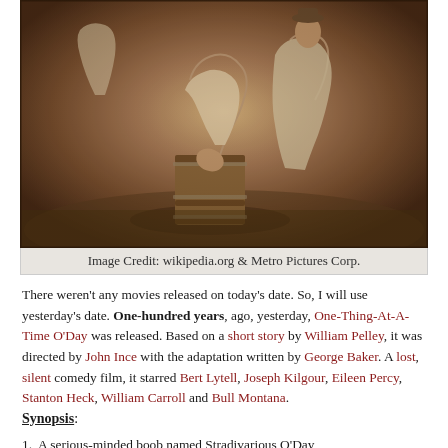[Figure (photo): Sepia-toned vintage photograph showing two people in white aprons, one bending over a wooden barrel outdoors on grass. The image is credited to wikipedia.org and Metro Pictures Corp.]
Image Credit: wikipedia.org & Metro Pictures Corp.
There weren't any movies released on today's date. So, I will use yesterday's date. One-hundred years, ago, yesterday, One-Thing-At-A-Time O'Day was released. Based on a short story by William Pelley, it was directed by John Ince with the adaptation written by George Baker. A lost, silent comedy film, it starred Bert Lytell, Joseph Kilgour, Eileen Percy, Stanton Heck, William Carroll and Bull Montana.
Synopsis:
A serious-minded boob named Stradivarious O'Day